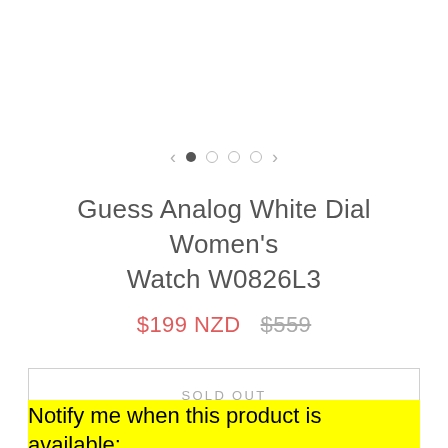[Figure (other): Image carousel navigation with left/right arrows and four dots (first dot filled/active, three empty)]
Guess Analog White Dial Women's Watch W0826L3
$199 NZD  $559
SOLD OUT
Notify me when this product is available: